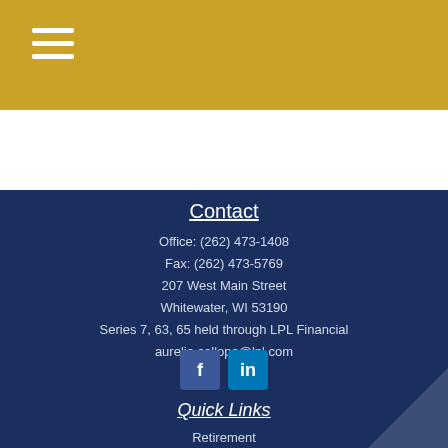Navigation menu (hamburger icon)
Contact
Office: (262) 473-1408
Fax: (262) 473-5769
207 West Main Street
Whitewater, WI 53190
Series 7, 63, 65 held through LPL Financial
aurelio.callope@lpl.com
[Figure (other): Facebook and LinkedIn social media icon buttons]
Quick Links
Retirement
Investment
Estate
Insurance